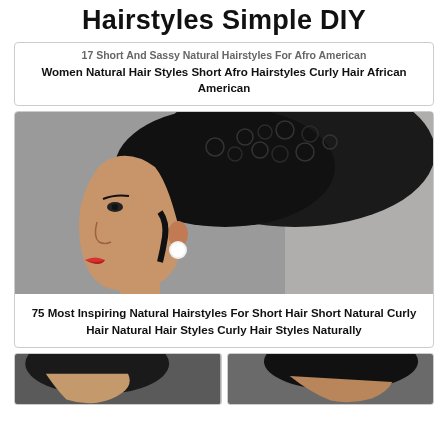Hairstyles Simple DIY
17 Short And Sassy Natural Hairstyles For Afro American Women Natural Hair Styles Short Afro Hairstyles Curly Hair African American
[Figure (photo): Side profile of a woman with short natural curly hair, wearing a white earring and red lipstick]
75 Most Inspiring Natural Hairstyles For Short Hair Short Natural Curly Hair Natural Hair Styles Curly Hair Styles Naturally
[Figure (photo): Two partial photos of women with natural hairstyles at the bottom of the page]